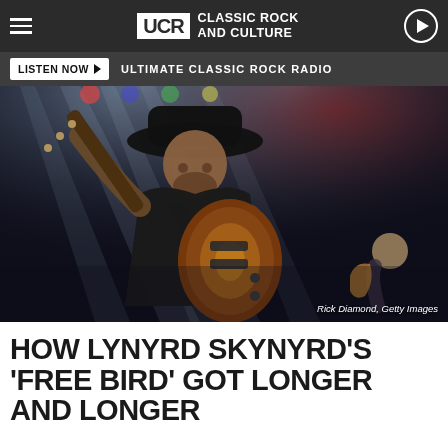UCR Classic Rock and Culture
LISTEN NOW | ULTIMATE CLASSIC ROCK RADIO
[Figure (photo): A guitarist wearing a wide-brimmed hat playing a sunburst Les Paul guitar on stage, with dramatic light beams in the background and another guitarist visible in the right corner.]
Rick Diamond, Getty Images
HOW LYNYRD SKYNYRD'S 'FREE BIRD' GOT LONGER AND LONGER